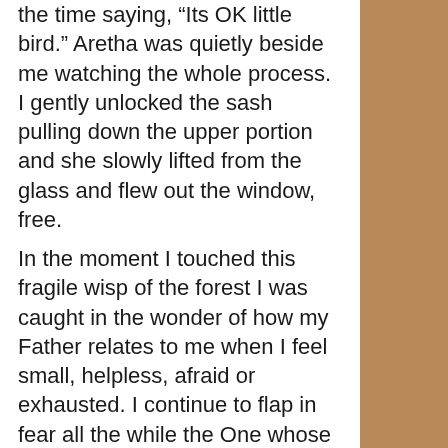the time saying, “Its OK little bird.” Aretha was quietly beside me watching the whole process. I gently unlocked the sash pulling down the upper portion and she slowly lifted from the glass and flew out the window, free.
In the moment I touched this fragile wisp of the forest I was caught in the wonder of how my Father relates to me when I feel small, helpless, afraid or exhausted. I continue to flap in fear all the while the One whose hands formed me touches me and whispers in the sound of a gentle stilling, “It’s OK little one. I’m here to help you.” A little bird told me about the power and passion of God to love and touch me… to resurrect me from